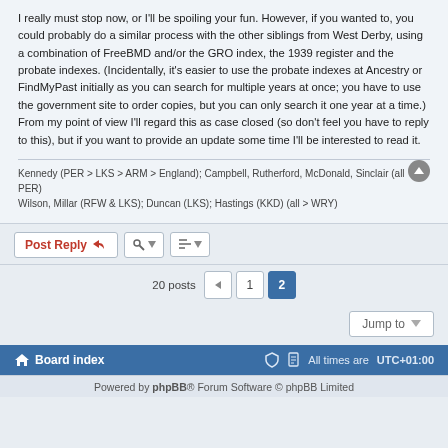I really must stop now, or I'll be spoiling your fun. However, if you wanted to, you could probably do a similar process with the other siblings from West Derby, using a combination of FreeBMD and/or the GRO index, the 1939 register and the probate indexes. (Incidentally, it's easier to use the probate indexes at Ancestry or FindMyPast initially as you can search for multiple years at once; you have to use the government site to order copies, but you can only search it one year at a time.) From my point of view I'll regard this as case closed (so don't feel you have to reply to this), but if you want to provide an update some time I'll be interested to read it.
Kennedy (PER > LKS > ARM > England); Campbell, Rutherford, McDonald, Sinclair (all PER)
Wilson, Millar (RFW & LKS); Duncan (LKS); Hastings (KKD) (all > WRY)
Post Reply
20 posts  1  2
Jump to
Board index   All times are UTC+01:00
Powered by phpBB® Forum Software © phpBB Limited